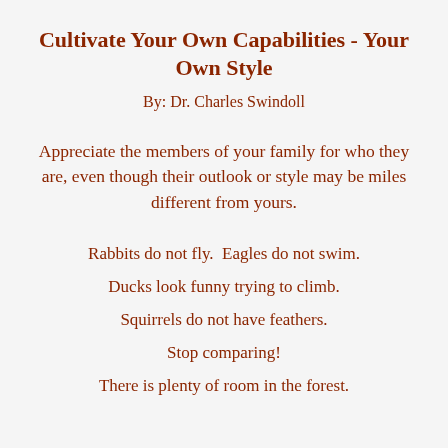Cultivate Your Own Capabilities - Your Own Style
By: Dr. Charles Swindoll
Appreciate the members of your family for who they are, even though their outlook or style may be miles different from yours.
Rabbits do not fly.  Eagles do not swim.
Ducks look funny trying to climb.
Squirrels do not have feathers.
Stop comparing!
There is plenty of room in the forest.